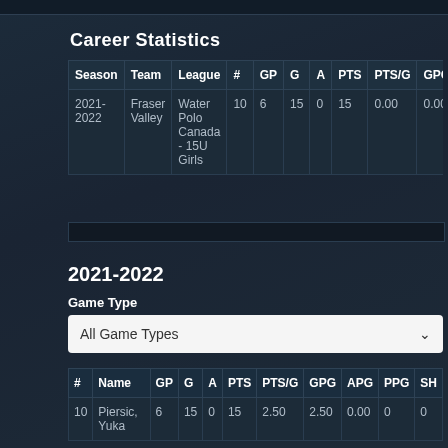Career Statistics
| Season | Team | League | # | GP | G | A | PTS | PTS/G | GPG |
| --- | --- | --- | --- | --- | --- | --- | --- | --- | --- |
| 2021-2022 | Fraser Valley | Water Polo Canada - 15U Girls | 10 | 6 | 15 | 0 | 15 | 0.00 | 0.00 |
2021-2022
Game Type
All Game Types
| # | Name | GP | G | A | PTS | PTS/G | GPG | APG | PPG | SH |
| --- | --- | --- | --- | --- | --- | --- | --- | --- | --- | --- |
| 10 | Piersic, Yuka | 6 | 15 | 0 | 15 | 2.50 | 2.50 | 0.00 | 0 | 0 |